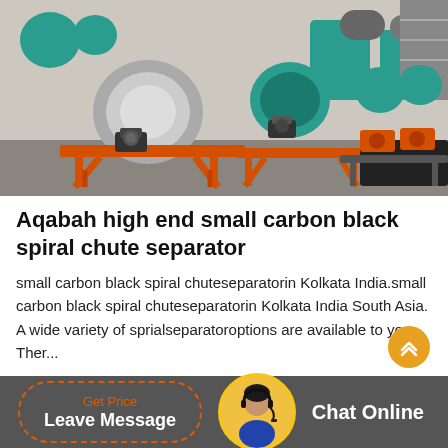[Figure (photo): Factory floor photo showing multiple industrial magnetic separator machines with orange metal frames and teal/green cylindrical rollers, arranged in a large industrial warehouse.]
Aqabah high end small carbon black spiral chute separator
small carbon black spiral chuteseparatorin Kolkata India.small carbon black spiral chuteseparatorin Kolkata India South Asia. A wide variety of sprialseparatoroptions are available to you, Ther...